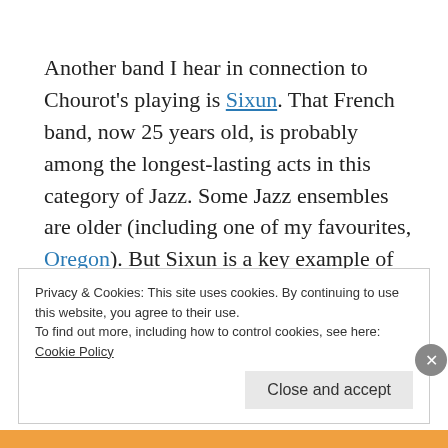Another band I hear in connection to Chourot's playing is Sixun. That French band, now 25 years old, is probably among the longest-lasting acts in this category of Jazz. Some Jazz ensembles are older (including one of my favourites, Oregon). But Sixun is a key example of what some people call "Jazz Fusion."
Privacy & Cookies: This site uses cookies. By continuing to use this website, you agree to their use.
To find out more, including how to control cookies, see here:
Cookie Policy